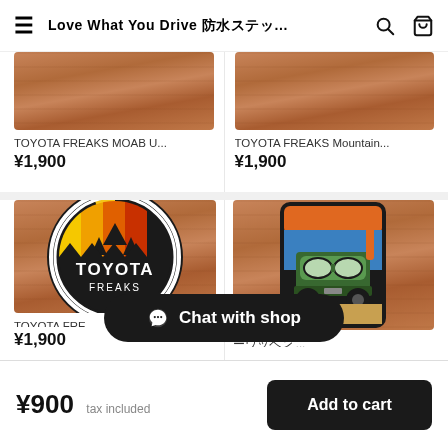Love What You Drive 防水ステッ...
TOYOTA FREAKS MOAB U...
¥1,900
TOYOTA FREAKS Mountain...
¥1,900
[Figure (photo): TOYOTA FREAKS circular badge/patch on wood background with rainbow color bands and mountain graphic]
TOYOTA FRE...
¥1,900
[Figure (photo): FJ Cruiser themed sticker/wappen with snorkel and green car on wood background]
ーワッペン ...
¥900 tax included
Add to cart
Chat with shop